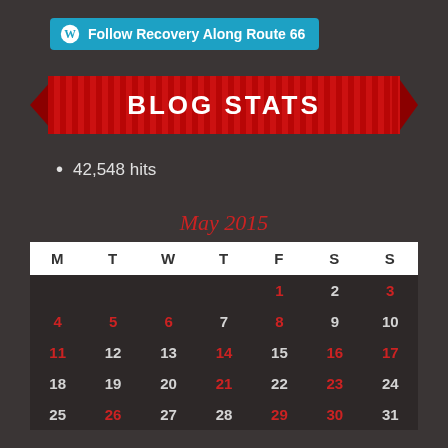[Figure (other): WordPress Follow button with cyan background reading 'Follow Recovery Along Route 66']
[Figure (other): Red striped ribbon banner with bold white text 'BLOG STATS']
42,548 hits
| M | T | W | T | F | S | S |
| --- | --- | --- | --- | --- | --- | --- |
|  |  |  |  | 1 | 2 | 3 |
| 4 | 5 | 6 | 7 | 8 | 9 | 10 |
| 11 | 12 | 13 | 14 | 15 | 16 | 17 |
| 18 | 19 | 20 | 21 | 22 | 23 | 24 |
| 25 | 26 | 27 | 28 | 29 | 30 | 31 |